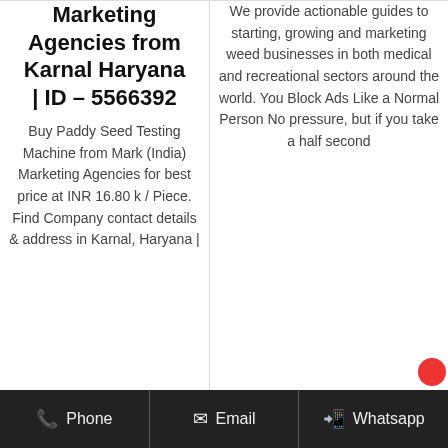Marketing Agencies from Karnal Haryana | ID – 5566392
Buy Paddy Seed Testing Machine from Mark (India) Marketing Agencies for best price at INR 16.80 k / Piece. Find Company contact details & address in Karnal, Haryana |
We provide actionable guides to starting, growing and marketing weed businesses in both medical and recreational sectors around the world. You Block Ads Like a Normal Person No pressure, but if you take a half second
Phone   Email   Whatsapp